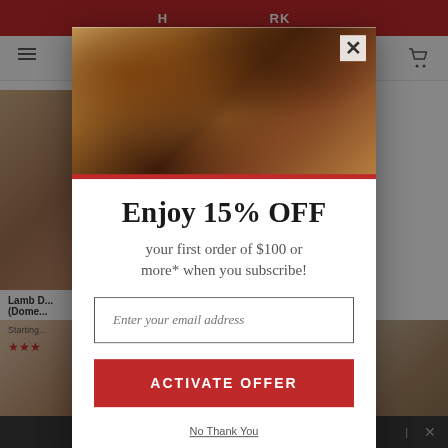[Figure (screenshot): Website background showing a meat/butcher e-commerce page with red header bar, navigation with hamburger menu and cart icon, product images of meat cuts, product text 'Lamb D... (Dome...' with Starting price and star ratings, and a dark bottom bar.]
[Figure (photo): Modal popup photo showing grilled BBQ brisket slices on a wooden cutting board with sauce, onion rings, and pepperoncini peppers. A red bar runs along the bottom edge of the image.]
Enjoy 15% OFF
your first order of $100 or more* when you subscribe!
Enter your email address
ACTIVATE OFFER
No Thank You